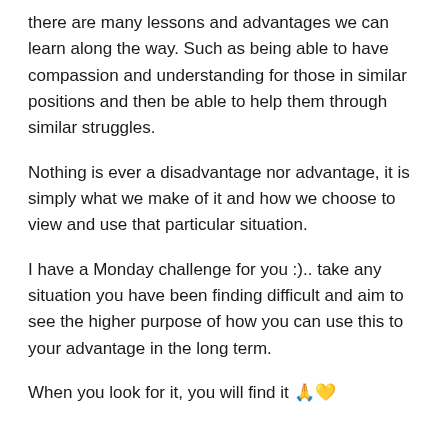there are many lessons and advantages we can learn along the way. Such as being able to have compassion and understanding for those in similar positions and then be able to help them through similar struggles.
Nothing is ever a disadvantage nor advantage, it is simply what we make of it and how we choose to view and use that particular situation.
I have a Monday challenge for you :).. take any situation you have been finding difficult and aim to see the higher purpose of how you can use this to your advantage in the long term.
When you look for it, you will find it 🙏💛